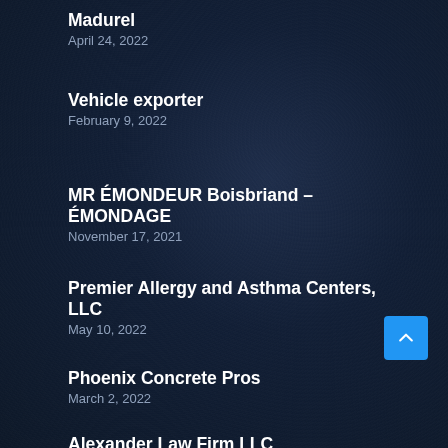Madurel
April 24, 2022
Vehicle exporter
February 9, 2022
MR ÉMONDEUR Boisbriand – ÉMONDAGE
November 17, 2021
Premier Allergy and Asthma Centers, LLC
May 10, 2022
Phoenix Concrete Pros
March 2, 2022
Alexander Law Firm LLC